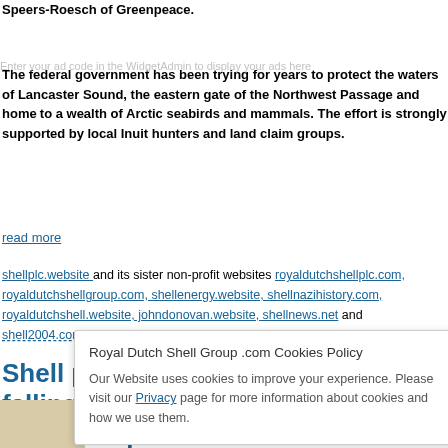Speers-Roesch of Greenpeace.
The federal government has been trying for years to protect the waters of Lancaster Sound, the eastern gate of the Northwest Passage and home to a wealth of Arctic seabirds and mammals. The effort is strongly supported by local Inuit hunters and land claim groups.
read more
shellplc.website and its sister non-profit websites royaldutchshellplc.com, royaldutchshellgroup.com, shellenergy.website, shellnazihistory.com, royaldutchshell.website, johndonovan.website, shellnews.net and shell2004.com are owned by John Donovan. There is also a Wikipedia f…
Shell plans North Sea sell-off as falling crude makes many of its sites less profitable
Mar 27th, 2016 by John Donovan. Comments are off for this post
[Figure (other): Partial image/thumbnail visible at bottom left]
Royal Dutch Shell Group .com Cookies Policy
Our Website uses cookies to improve your experience. Please visit our Privacy page for more information about cookies and how we use them.